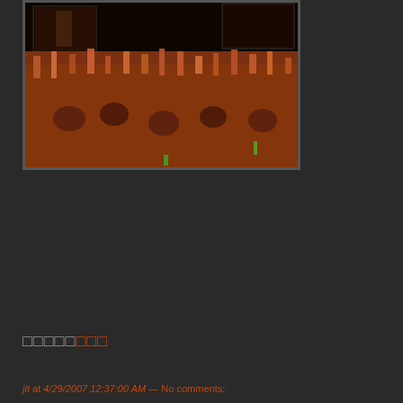[Figure (photo): Concert crowd photo with audience raising hands in a dark venue with orange/warm lighting, a screen visible in the background]
Couldn't load plugin.
□□□□□□□□
jit at 4/29/2007 12:37:00 AM — No comments: